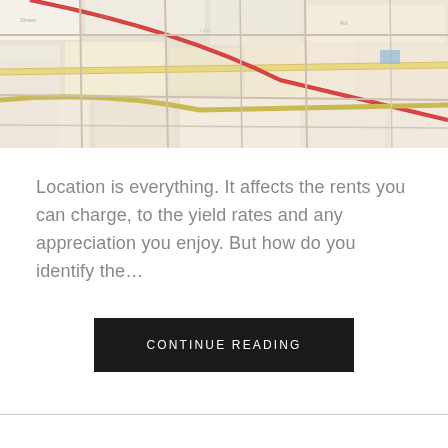[Figure (map): Blurred aerial map image showing streets and roads with colored lines (red, yellow) on a light background]
Location is everything. It affects the rents you can charge, to the yield rates and any appreciation you enjoy. But how do you identify the…
CONTINUE READING
What will shape real estate in 2019?